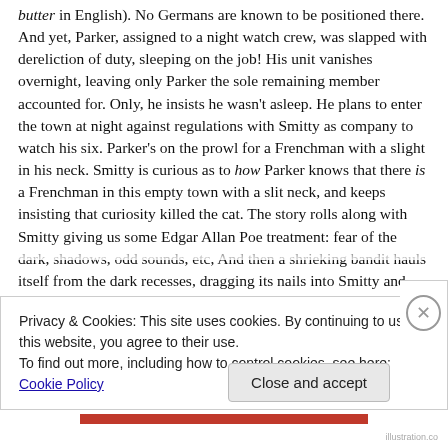butter in English). No Germans are known to be positioned there. And yet, Parker, assigned to a night watch crew, was slapped with dereliction of duty, sleeping on the job! His unit vanishes overnight, leaving only Parker the sole remaining member accounted for. Only, he insists he wasn't asleep. He plans to enter the town at night against regulations with Smitty as company to watch his six. Parker's on the prowl for a Frenchman with a slight in his neck. Smitty is curious as to how Parker knows that there is a Frenchman in this empty town with a slit neck, and keeps insisting that curiosity killed the cat. The story rolls along with Smitty giving us some Edgar Allan Poe treatment: fear of the dark, shadows, odd sounds, etc, And then a shrieking bandit hauls itself from the dark recesses, dragging its nails into Smitty and nearly bearing him to the ground. He throws the bandit off him.
Privacy & Cookies: This site uses cookies. By continuing to use this website, you agree to their use.
To find out more, including how to control cookies, see here: Cookie Policy
Close and accept